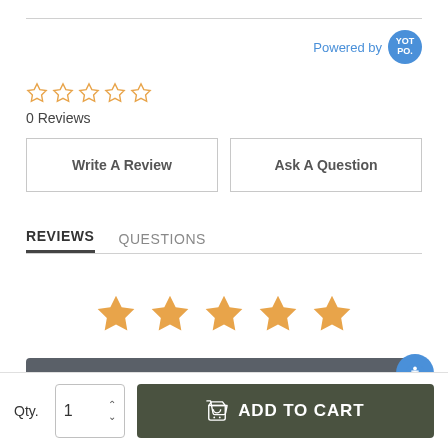[Figure (other): Powered by Yotpo badge — blue circular logo with 'YOT PO.' text]
[Figure (other): Five empty orange star rating icons]
0 Reviews
Write A Review
Ask A Question
REVIEWS
QUESTIONS
[Figure (other): Five filled orange star rating icons]
ADD TO CART
Qty.
1